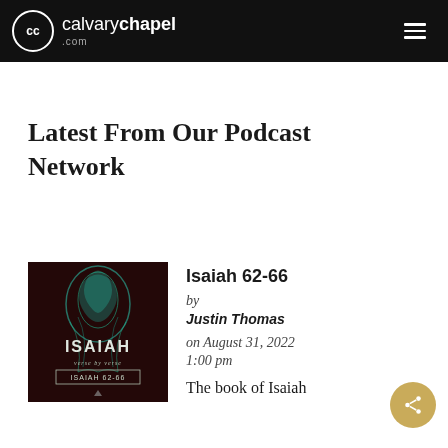calvarychapel.com
Latest From Our Podcast Network
[Figure (illustration): Isaiah verse by verse podcast album art — dark red/maroon background with teal ethereal figure, text 'ISAIAH verse by verse' and 'ISAIAH 62-66' with a small logo at bottom]
Isaiah 62-66
by Justin Thomas on August 31, 2022 1:00 pm
The book of Isaiah